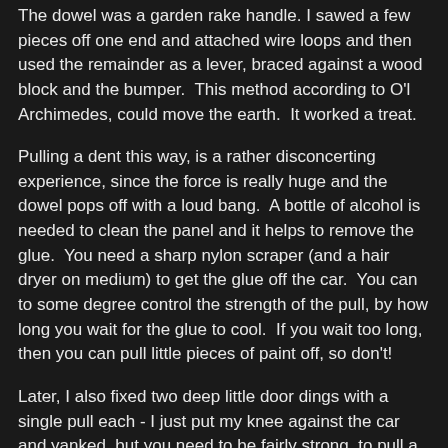The dowel was a garden rake handle. I sawed a few pieces off one end and attached wire loops and then used the remainder as a lever, braced against a wood block and the bumper. This method according to O'l Archimedes, could move the earth. It worked a treat.
Pulling a dent this way, is a rather disconcerting experience, since the force is really huge and the dowel pops off with a loud bang. A bottle of alcohol is needed to clean the panel and it helps to remove the glue. You need a sharp nylon scraper (and a hair dryer on medium) to get the glue off the car. You can to some degree control the strength of the pull, by how long you wait for the glue to cool. If you wait too long, then you can pull little pieces of paint off, so don't!
Later, I also fixed two deep little door dings with a single pull each - I just put my knee against the car and yanked, but you need to be fairly strong, to pull a glue tab off without a big lever and in the middle of a car panel, you may not have a handy and strong fulcrum position for a wood block.
The pictures say it all: